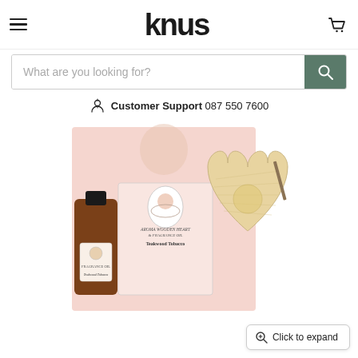knus
What are you looking for?
Customer Support  087 550 7600
[Figure (photo): Product photo of Knus Aroma Wooden Heart & Fragrance Oil set in Teakwood Tobacco scent, showing a small amber glass bottle with label, a pink gift box, and a wooden heart-shaped diffuser.]
Click to expand